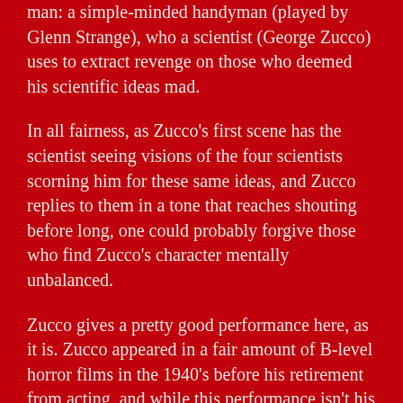man: a simple-minded handyman (played by Glenn Strange), who a scientist (George Zucco) uses to extract revenge on those who deemed his scientific ideas mad.
In all fairness, as Zucco's first scene has the scientist seeing visions of the four scientists scorning him for these same ideas, and Zucco replies to them in a tone that reaches shouting before long, one could probably forgive those who find Zucco's character mentally unbalanced.
Zucco gives a pretty good performance here, as it is. Zucco appeared in a fair amount of B-level horror films in the 1940's before his retirement from acting, and while this performance isn't his most